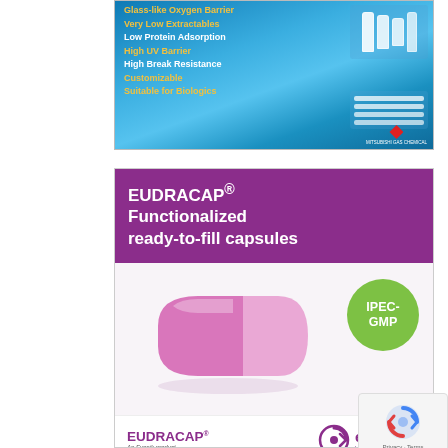[Figure (advertisement): Mitsubishi Gas Chemical advertisement for glass-like plastic vials. Blue gradient background with product features listed in gold and white text: Glass-like Oxygen Barrier, Very Low Extractables, Low Protein Adsorption, High UV Barrier, High Break Resistance, Customizable, Suitable for Biologics. Vials and syringes shown on right side.]
[Figure (advertisement): Evonik EUDRACAP advertisement. Purple header with text 'EUDRACAP® Functionalized ready-to-fill capsules'. Pink/magenta capsule photo in center with green IPEC-GMP badge. Footer shows EUDRACAP® An Evonik product and Evonik Leading Beyond Chemistry logos.]
[Figure (advertisement): Partial third advertisement visible at bottom, dark navy background with orange/red radiating lines.]
[Figure (other): Google reCAPTCHA widget showing the reCAPTCHA logo (blue arrow circle) and 'Privacy - Terms' text.]